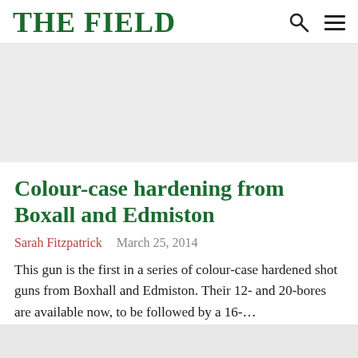THE FIELD
[Figure (photo): Light grey image placeholder area below the header navigation]
Colour-case hardening from Boxall and Edmiston
Sarah Fitzpatrick   March 25, 2014
This gun is the first in a series of colour-case hardened shot guns from Boxhall and Edmiston. Their 12- and 20-bores are available now, to be followed by a 16-…